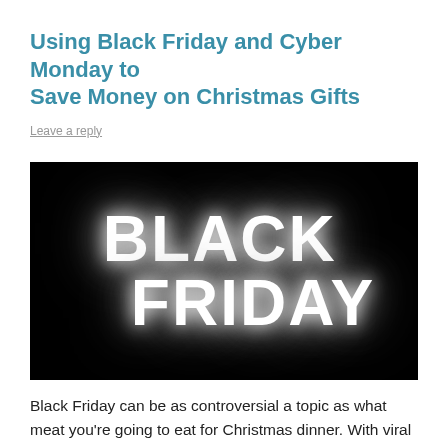Using Black Friday and Cyber Monday to Save Money on Christmas Gifts
Leave a reply
[Figure (photo): Dark background with large glowing white bold text reading 'BLACK FRIDAY' in two lines, styled with a bright neon glow effect on a black background.]
Black Friday can be as controversial a topic as what meat you're going to eat for Christmas dinner. With viral clips of fighting over in-store goods and others claiming its all a